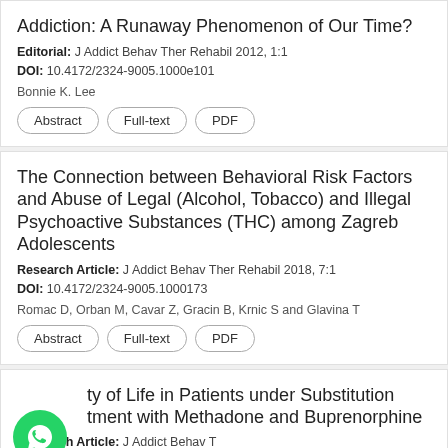Addiction: A Runaway Phenomenon of Our Time?
Editorial: J Addict Behav Ther Rehabil 2012, 1:1
DOI: 10.4172/2324-9005.1000e101
Bonnie K. Lee
Abstract | Full-text | PDF
The Connection between Behavioral Risk Factors and Abuse of Legal (Alcohol, Tobacco) and Illegal Psychoactive Substances (THC) among Zagreb Adolescents
Research Article: J Addict Behav Ther Rehabil 2018, 7:1
DOI: 10.4172/2324-9005.1000173
Romac D, Orban M, Cavar Z, Gracin B, Krnic S and Glavina T
Abstract | Full-text | PDF
ty of Life in Patients under Substitution tment with Methadone and Buprenorphine
Research Article: J Addict Behav T
DOI:
[Figure (screenshot): WhatsApp chat bubble icon (green circle with phone handset) overlaying the bottom article card, with a blue 'Leave a message' bar with X close button at bottom right]